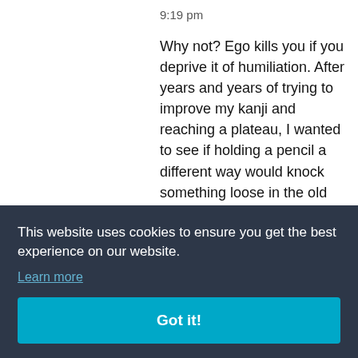9:19 pm
Why not? Ego kills you if you deprive it of humiliation. After years and years of trying to improve my kanji and reaching a plateau, I wanted to see if holding a pencil a different way would knock something loose in the old noggin. It actually worked somewhat. My kanji got
s a
19 at
to be
this, there is definitely
This website uses cookies to ensure you get the best experience on our website.
Learn more
Got it!